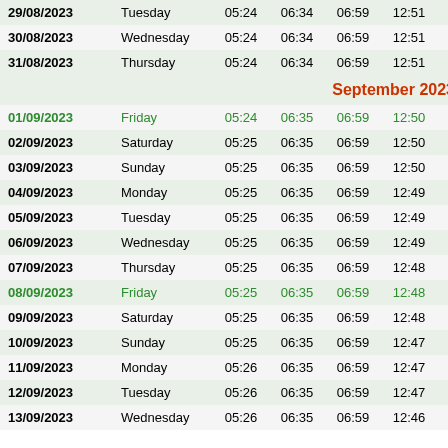| Date | Day |  |  |  |  |  |
| --- | --- | --- | --- | --- | --- | --- |
| 29/08/2023 | Tuesday | 05:24 | 06:34 | 06:59 | 12:51 | 1 |
| 30/08/2023 | Wednesday | 05:24 | 06:34 | 06:59 | 12:51 | 1 |
| 31/08/2023 | Thursday | 05:24 | 06:34 | 06:59 | 12:51 | 1 |
| September 2023 |  |  |  |  |  |  |
| 01/09/2023 | Friday | 05:24 | 06:35 | 06:59 | 12:50 | 1 |
| 02/09/2023 | Saturday | 05:25 | 06:35 | 06:59 | 12:50 | 1 |
| 03/09/2023 | Sunday | 05:25 | 06:35 | 06:59 | 12:50 | 1 |
| 04/09/2023 | Monday | 05:25 | 06:35 | 06:59 | 12:49 | 1 |
| 05/09/2023 | Tuesday | 05:25 | 06:35 | 06:59 | 12:49 | 1 |
| 06/09/2023 | Wednesday | 05:25 | 06:35 | 06:59 | 12:49 | 1 |
| 07/09/2023 | Thursday | 05:25 | 06:35 | 06:59 | 12:48 | 1 |
| 08/09/2023 | Friday | 05:25 | 06:35 | 06:59 | 12:48 | 1 |
| 09/09/2023 | Saturday | 05:25 | 06:35 | 06:59 | 12:48 | 1 |
| 10/09/2023 | Sunday | 05:25 | 06:35 | 06:59 | 12:47 | 1 |
| 11/09/2023 | Monday | 05:26 | 06:35 | 06:59 | 12:47 | 1 |
| 12/09/2023 | Tuesday | 05:26 | 06:35 | 06:59 | 12:47 | 1 |
| 13/09/2023 | Wednesday | 05:26 | 06:35 | 06:59 | 12:46 | 1 |